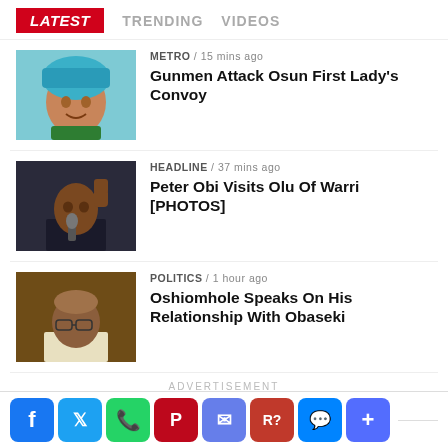LATEST   TRENDING   VIDEOS
[Figure (photo): Woman in blue traditional Nigerian headgear and green outfit with gold necklace, smiling]
METRO / 15 mins ago
Gunmen Attack Osun First Lady's Convoy
[Figure (photo): Man in dark clothing speaking at a microphone with fist raised]
HEADLINE / 37 mins ago
Peter Obi Visits Olu Of Warri [PHOTOS]
[Figure (photo): Older man in glasses and light shirt, slightly balding]
POLITICS / 1 hour ago
Oshiomhole Speaks On His Relationship With Obaseki
ADVERTISEMENT
ADVERTISEMENT